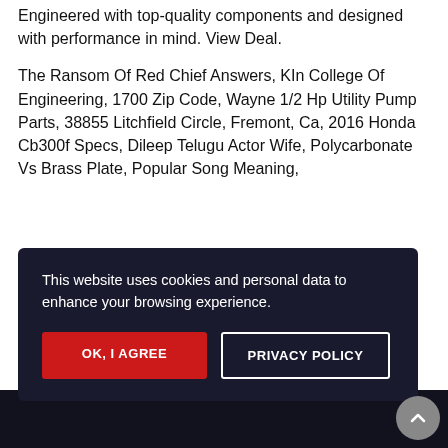Denon x2200w: It's back on the Costco website. Engineered with top-quality components and designed with performance in mind. View Deal.
The Ransom Of Red Chief Answers, KIn College Of Engineering, 1700 Zip Code, Wayne 1/2 Hp Utility Pump Parts, 38855 Litchfield Circle, Fremont, Ca, 2016 Honda Cb300f Specs, Dileep Telugu Actor Wife, Polycarbonate Vs Brass Plate, Popular Song Meaning,
This website uses cookies and personal data to enhance your browsing experience.
OK, I AGREE
PRIVACY POLICY